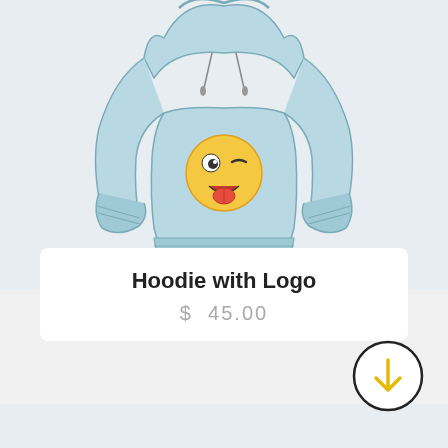[Figure (illustration): A light blue hoodie with a winking emoji (tongue out, one eye winking) printed on the chest area. The hoodie has a hood at the top and ribbed cuffs and hem. The drawing style is sketch/illustration.]
Hoodie with Logo
$ 45.00
[Figure (other): A circular download button icon with a downward arrow in yellow/gold color, outlined by a black circle.]